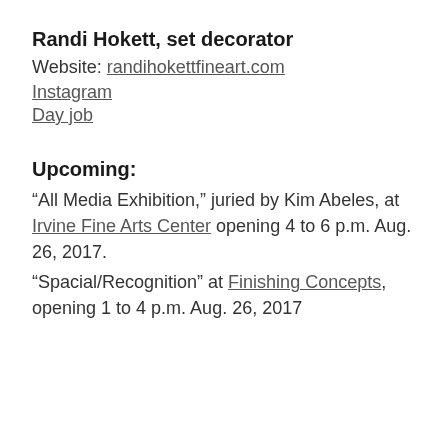Randi Hokett, set decorator
Website: randihokettfineart.com
Instagram
Day job
Upcoming:
“All Media Exhibition,” juried by Kim Abeles, at Irvine Fine Arts Center opening 4 to 6 p.m. Aug. 26, 2017.
“Spacial/Recognition” at Finishing Concepts, opening 1 to 4 p.m. Aug. 26, 2017